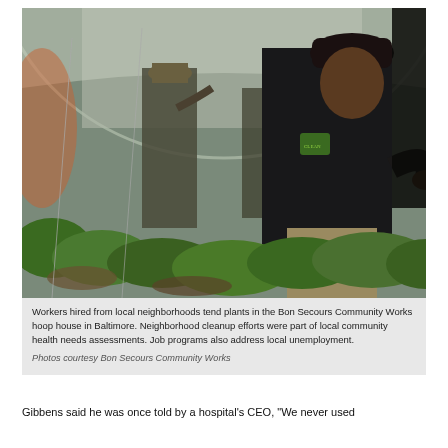[Figure (photo): Workers hired from local neighborhoods tending plants in a greenhouse hoop house. A man in a black jacket and dark cap crouches among rows of green leafy plants inside a curved plastic-covered hoop house structure. Another worker in background wearing a hat picks plants.]
Workers hired from local neighborhoods tend plants in the Bon Secours Community Works hoop house in Baltimore. Neighborhood cleanup efforts were part of local community health needs assessments. Job programs also address local unemployment.
Photos courtesy Bon Secours Community Works
Gibbens said he was once told by a hospital's CEO, "We never used